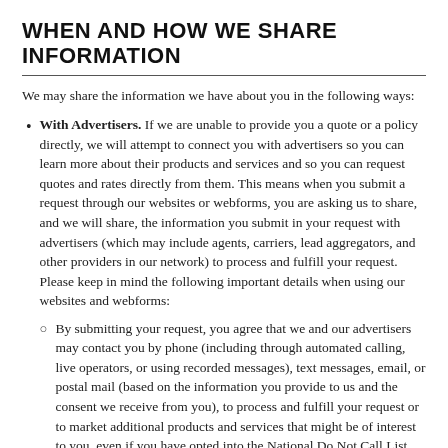WHEN AND HOW WE SHARE INFORMATION
We may share the information we have about you in the following ways:
With Advertisers. If we are unable to provide you a quote or a policy directly, we will attempt to connect you with advertisers so you can learn more about their products and services and so you can request quotes and rates directly from them. This means when you submit a request through our websites or webforms, you are asking us to share, and we will share, the information you submit in your request with advertisers (which may include agents, carriers, lead aggregators, and other providers in our network) to process and fulfill your request. Please keep in mind the following important details when using our websites and webforms:
By submitting your request, you agree that we and our advertisers may contact you by phone (including through automated calling, live operators, or using recorded messages), text messages, email, or postal mail (based on the information you provide to us and the consent we receive from you), to process and fulfill your request or to market additional products and services that might be of interest to you, even if you have opted into the National Do Not Call List (administered by the Federal Trade Commission) or any